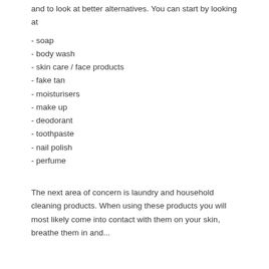and to look at better alternatives. You can start by looking at
- soap
- body wash
- skin care / face products
- fake tan
- moisturisers
- make up
- deodorant
- toothpaste
- nail polish
- perfume
The next area of concern is laundry and household cleaning products. When using these products you will most likely come into contact with them on your skin, breathe them in and...